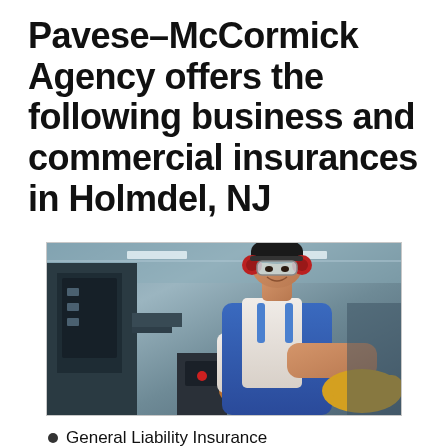Pavese–McCormick Agency offers the following business and commercial insurances in Holmdel, NJ
[Figure (photo): A smiling male factory worker wearing red ear protection, safety goggles, a blue apron/overalls, white shirt, and yellow gloves, working at industrial machinery in a manufacturing facility.]
General Liability Insurance